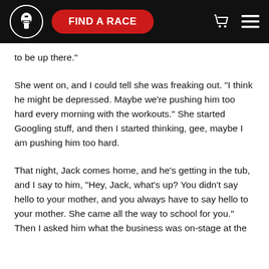Spartan Race — FIND A RACE [navigation header]
to be up there."
She went on, and I could tell she was freaking out. "I think he might be depressed. Maybe we're pushing him too hard every morning with the workouts." She started Googling stuff, and then I started thinking, gee, maybe I am pushing him too hard.
That night, Jack comes home, and he's getting in the tub, and I say to him, "Hey, Jack, what's up? You didn't say hello to your mother, and you always have to say hello to your mother. She came all the way to school for you." Then I asked him what the business was on-stage at the